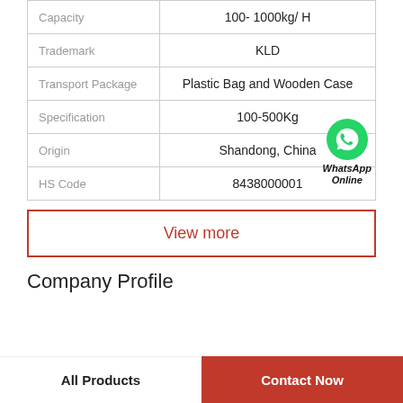|  |  |
| --- | --- |
| Capacity | 100- 1000kg/ H |
| Trademark | KLD |
| Transport Package | Plastic Bag and Wooden Case |
| Specification | 100-500Kg |
| Origin | Shandong, China |
| HS Code | 8438000001 |
View more
Company Profile
All Products
Contact Now